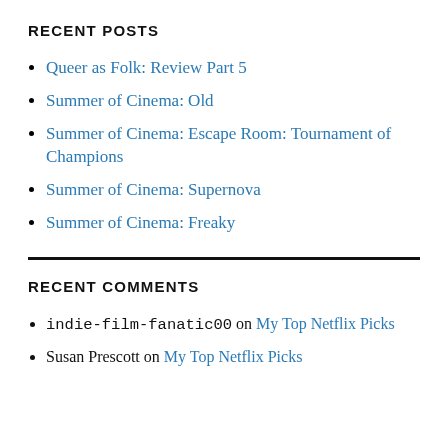RECENT POSTS
Queer as Folk: Review Part 5
Summer of Cinema: Old
Summer of Cinema: Escape Room: Tournament of Champions
Summer of Cinema: Supernova
Summer of Cinema: Freaky
RECENT COMMENTS
indie-film-fanatic00 on My Top Netflix Picks
Susan Prescott on My Top Netflix Picks